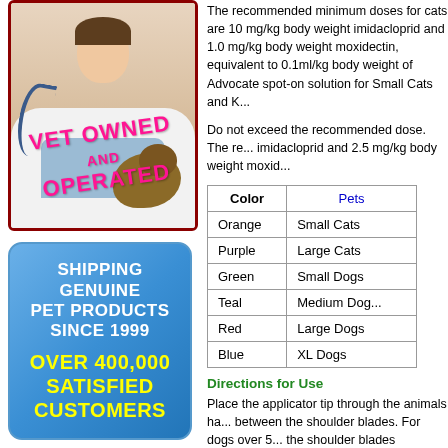[Figure (photo): Veterinarian in white lab coat with stethoscope holding a puppy. Text overlay reads 'VET OWNED AND OPERATED' in pink/magenta bold text.]
[Figure (infographic): Blue rounded rectangle banner reading 'SHIPPING GENUINE PET PRODUCTS SINCE 1999' in white bold text, with 'OVER 400,000 SATISFIED CUSTOMERS' in yellow bold text.]
The recommended minimum doses for cats are 10 mg/kg body weight imidacloprid and 1.0 mg/kg body weight moxidectin, equivalent to 0.1ml/kg body weight of Advocate spot-on solution for Small Cats and Kittens.
Do not exceed the recommended dose. The recommended dose is 10 mg/kg imidacloprid and 2.5 mg/kg body weight moxidectin.
| Color | Pets |
| --- | --- |
| Orange | Small Cats |
| Purple | Large Cats |
| Green | Small Dogs |
| Teal | Medium Dogs |
| Red | Large Dogs |
| Blue | XL Dogs |
Directions for Use
Place the applicator tip through the animals hair to the skin between the shoulder blades. For dogs over 5 kg, apply at the shoulder blades extending back to the base of the skull. Give the appropriate dose using an appropriate combination of pipettes. Advocate